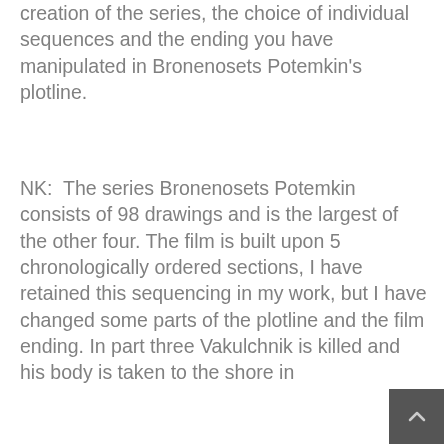creation of the series, the choice of individual sequences and the ending you have manipulated in Bronenosets Potemkin's plotline.
NK:  The series Bronenosets Potemkin consists of 98 drawings and is the largest of the other four. The film is built upon 5 chronologically ordered sections, I have retained this sequencing in my work, but I have changed some parts of the plotline and the film ending. In part three Vakulchnik is killed and his body is taken to the shore in